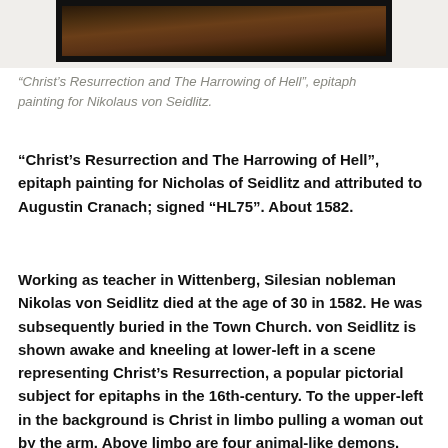[Figure (photo): Top portion of a framed painting showing 'Christ's Resurrection and The Harrowing of Hell', an epitaph painting for Nikolaus von Seidlitz. Dark tones with figures visible.]
“Christ’s Resurrection and The Harrowing of Hell”, epitaph painting for Nikolaus von Seidlitz.
“Christ’s Resurrection and The Harrowing of Hell”, epitaph painting for Nicholas of Seidlitz and attributed to Augustin Cranach; signed “HL75”. About 1582.
Working as teacher in Wittenberg, Silesian nobleman Nikolas von Seidlitz died at the age of 30 in 1582. He was subsequently buried in the Town Church. von Seidlitz is shown awake and kneeling at lower-left in a scene representing Christ’s Resurrection, a popular pictorial subject for epitaphs in the 16th-century. To the upper-left in the background is Christ in limbo pulling a woman out by the arm. Above limbo are four animal-like demons.